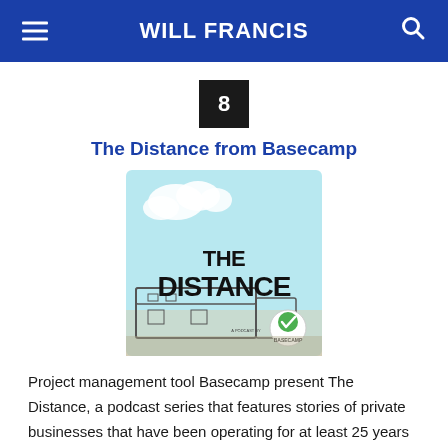WILL FRANCIS
The Distance from Basecamp
[Figure (illustration): Podcast cover art for 'The Distance' by Basecamp. Light blue background with cartoon clouds, bold black hand-lettered text reading 'THE DISTANCE', a sketch of a building, and a Basecamp logo badge in the bottom right corner.]
Project management tool Basecamp present The Distance, a podcast series that features stories of private businesses that have been operating for at least 25 years and the people who got them there.